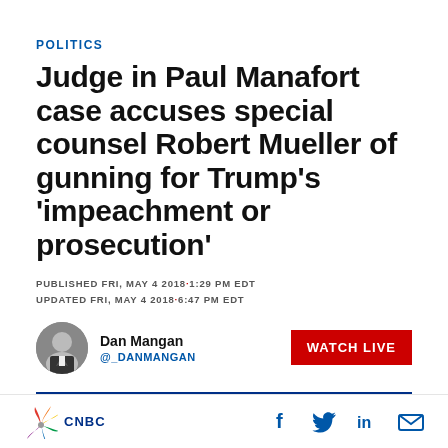POLITICS
Judge in Paul Manafort case accuses special counsel Robert Mueller of gunning for Trump's 'impeachment or prosecution'
PUBLISHED FRI, MAY 4 2018 · 1:29 PM EDT
UPDATED FRI, MAY 4 2018 · 6:47 PM EDT
Dan Mangan
@_DANMANGAN
WATCH LIVE
KEY POINTS
CNBC · Share on Facebook, Twitter, LinkedIn, Email